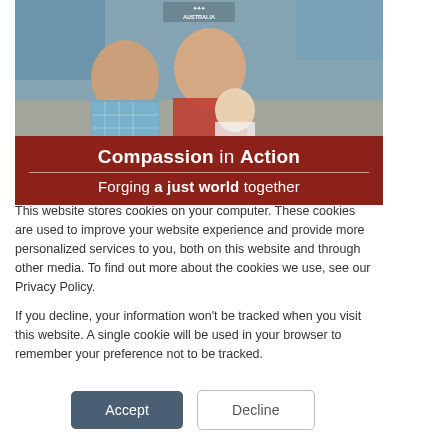[Figure (photo): A family photo showing a young woman in a blue/white checkered shirt, a young man in a red t-shirt, and a baby in white, sitting together indoors with hammocks visible in the background. Red banner below reads 'Compassion in Action / Forging a just world together'. Caritas Australia logo at top.]
This website stores cookies on your computer. These cookies are used to improve your website experience and provide more personalized services to you, both on this website and through other media. To find out more about the cookies we use, see our Privacy Policy.
If you decline, your information won't be tracked when you visit this website. A single cookie will be used in your browser to remember your preference not to be tracked.